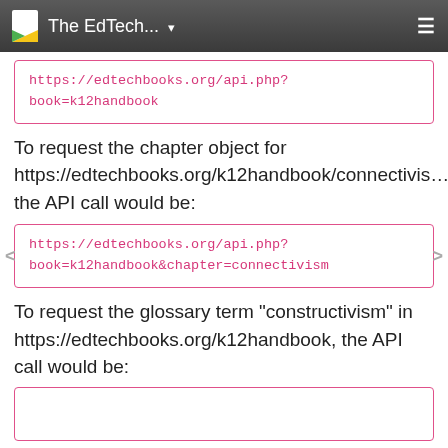The EdTech...
https://edtechbooks.org/api.php?book=k12handbook
To request the chapter object for https://edtechbooks.org/k12handbook/connectivism the API call would be:
https://edtechbooks.org/api.php?book=k12handbook&chapter=connectivism
To request the glossary term "constructivism" in https://edtechbooks.org/k12handbook, the API call would be: